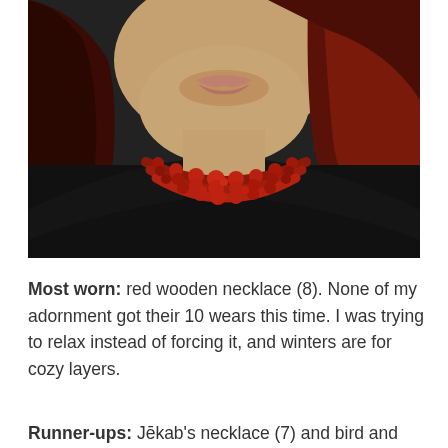[Figure (photo): Close-up photo of a person wearing a multi-strand red wooden bead necklace over a black top, with long dark reddish-brown hair visible on the right side.]
Most worn: red wooden necklace (8). None of my adornment got their 10 wears this time. I was trying to relax instead of forcing it, and winters are for cozy layers.
Runner-ups: Jēkab's necklace (7) and bird and